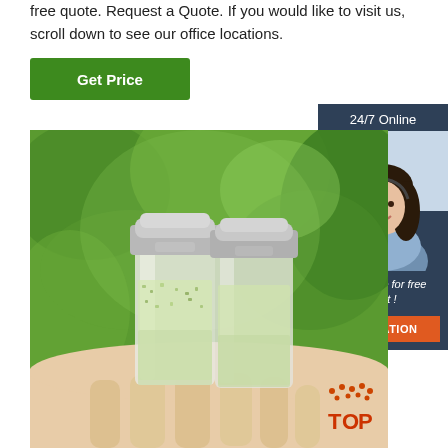free quote. Request a Quote. If you would like to visit us, scroll down to see our office locations.
[Figure (other): Green 'Get Price' button with white text on dark green background]
[Figure (other): Sidebar widget with '24/7 Online' header, photo of woman with headset smiling, 'Click here for free chat!' text, and orange QUOTATION button on dark blue background]
[Figure (photo): Two small glass vials/bottles with metal caps containing a granular substance, held in a hand with green foliage background]
[Figure (logo): TOP logo with orange dots and text in bottom right corner]